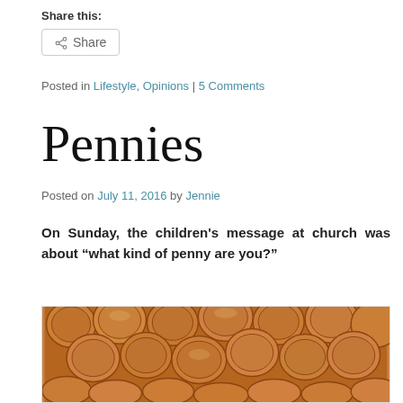Share this:
Share
Posted in Lifestyle, Opinions | 5 Comments
Pennies
Posted on July 11, 2016 by Jennie
On Sunday, the children's message at church was about “what kind of penny are you?”
[Figure (photo): A large pile of copper pennies filling the entire frame]